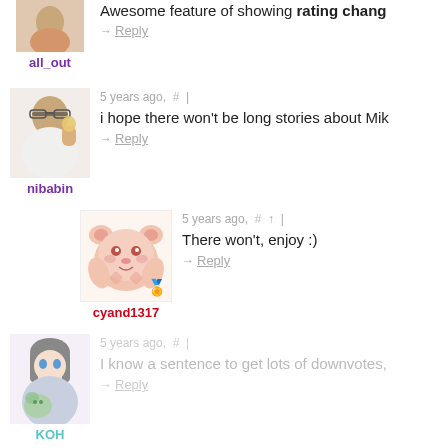[Figure (screenshot): Comment section from a website showing user avatars, usernames, timestamps, and comment text. Partial view of multiple user comments.]
Awesome feature of showing rating chang
→ Reply
all_out
5 years ago,  #  |
i hope there won't be long stories about Mik
→ Reply
nibabin
5 years ago,  #  ↑  |
There won't, enjoy :)
→ Reply
cyand1317
5 years ago,  #  |
I know a sentence to get lots of downvotes,
→ Reply
KOH